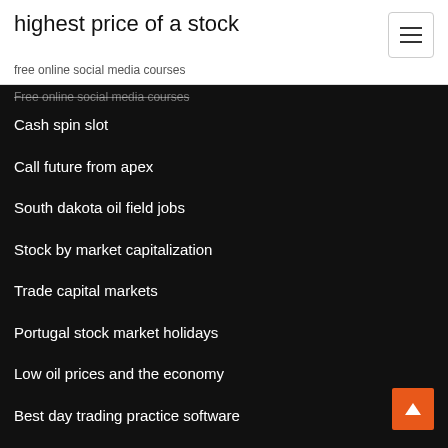highest price of a stock
free online social media courses
Free online social media courses
Cash spin slot
Call future from apex
South dakota oil field jobs
Stock by market capitalization
Trade capital markets
Portugal stock market holidays
Low oil prices and the economy
Best day trading practice software
Top rate of irish income tax
Equity indexed annuity